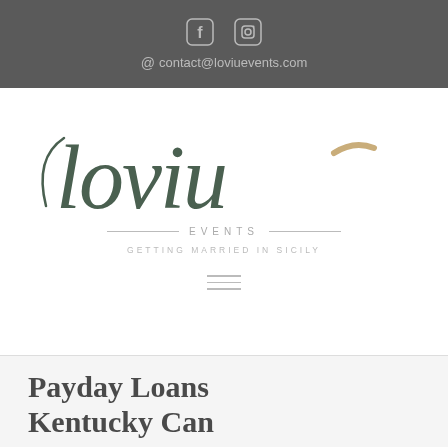contact@loviuevents.com
[Figure (logo): Loviu Events logo with cursive script text 'loviu' in dark green, subtitle 'EVENTS' with decorative rules, and tagline 'GETTING MARRIED IN SICILY']
Payday Loans Kentucky Can